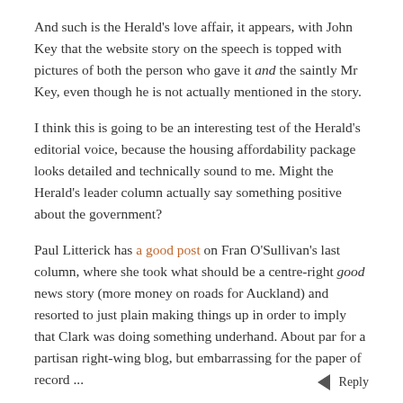And such is the Herald's love affair, it appears, with John Key that the website story on the speech is topped with pictures of both the person who gave it and the saintly Mr Key, even though he is not actually mentioned in the story.
I think this is going to be an interesting test of the Herald's editorial voice, because the housing affordability package looks detailed and technically sound to me. Might the Herald's leader column actually say something positive about the government?
Paul Litterick has a good post on Fran O'Sullivan's last column, where she took what should be a centre-right good news story (more money on roads for Auckland) and resorted to just plain making things up in order to imply that Clark was doing something underhand. About par for a partisan right-wing blog, but embarrassing for the paper of record ...
Auckland • Since Nov 2006 • 22850 posts